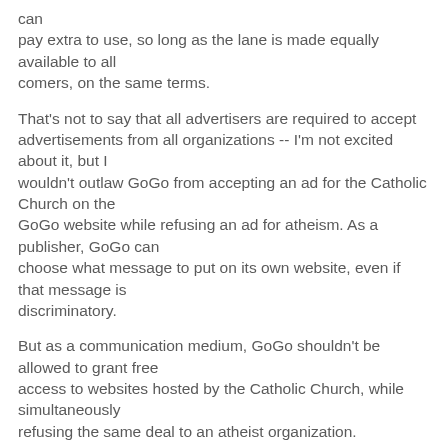can pay extra to use, so long as the lane is made equally available to all comers, on the same terms.
That's not to say that all advertisers are required to accept advertisements from all organizations -- I'm not excited about it, but I wouldn't outlaw GoGo from accepting an ad for the Catholic Church on the GoGo website while refusing an ad for atheism. As a publisher, GoGo can choose what message to put on its own website, even if that message is discriminatory.
But as a communication medium, GoGo shouldn't be allowed to grant free access to websites hosted by the Catholic Church, while simultaneously refusing the same deal to an atheist organization.
I understand it's a tricky and totally arbitrary line, but I think